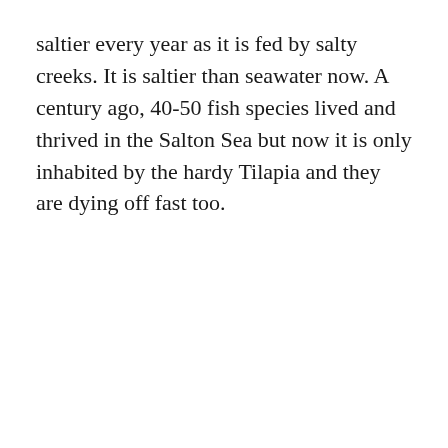saltier every year as it is fed by salty creeks. It is saltier than seawater now. A century ago, 40-50 fish species lived and thrived in the Salton Sea but now it is only inhabited by the hardy Tilapia and they are dying off fast too.